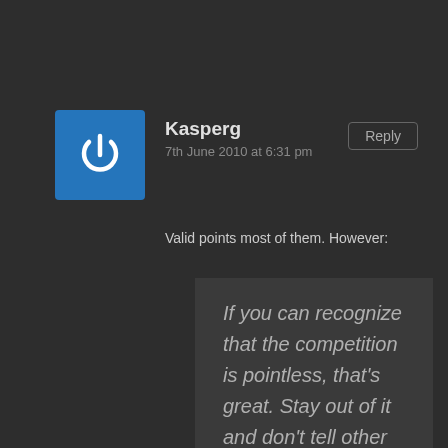[Figure (illustration): Blue square avatar icon with a white power button symbol]
Kasperg
7th June 2010 at 6:31 pm
Reply
Valid points most of them. However:
If you can recognize that the competition is pointless, that’s great. Stay out of it and don’t tell other people how they should run the competition. Since it’s not pointless to them, they can decide how